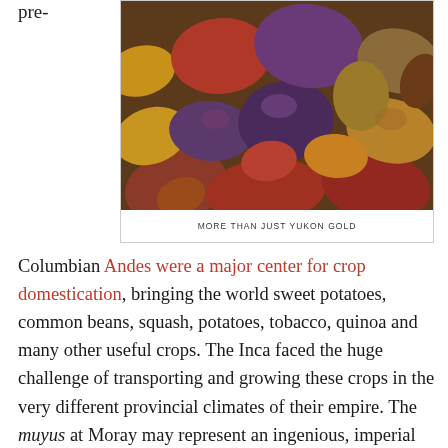pre-
[Figure (photo): A pile of diverse colorful potatoes in various shades of purple, red, brown, yellow, and gold.]
MORE THAN JUST YUKON GOLD
Columbian Andes were a major center for crop domestication, bringing the world sweet potatoes, common beans, squash, potatoes, tobacco, quinoa and many other useful crops. The Inca faced the huge challenge of transporting and growing these crops in the very different provincial climates of their empire. The muyus at Moray may represent an ingenious, imperial scheme to acclimatize and select